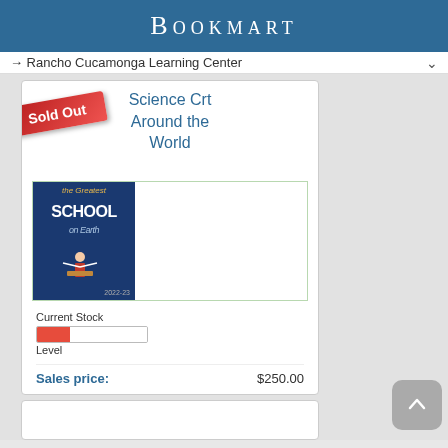Bookmart
→ Rancho Cucamonga Learning Center
Science C... Around the World
[Figure (photo): Book cover for 'The Greatest School on Earth' 2022-23 with a figure of a person on a pedestal, navy blue background]
Sold Out
Current Stock Level
Sales price: $250.00